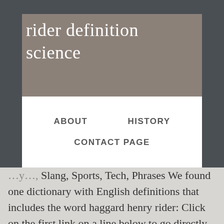rider definition science
ABOUT
HISTORY
CONTACT PAGE
Slang, Sports, Tech, Phrases We found one dictionary with English definitions that includes the word haggard henry rider: Click on the first link on a line below to go directly to a page where "haggard henry rider...